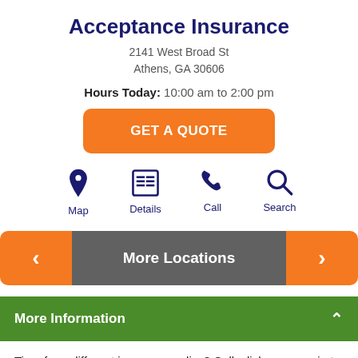Acceptance Insurance
2141 West Broad St
Athens, GA 30606
Hours Today: 10:00 am to 2:00 pm
GET A QUOTE
[Figure (infographic): Four icon buttons: Map, Details, Call, Search — all in dark navy blue]
More Locations
More Information
Time for a different insurance policy? Call, click, or come in to your closest Acceptance Insurance office near 30549. We shop for you to get you an affordable rate on Georgia auto insurance,